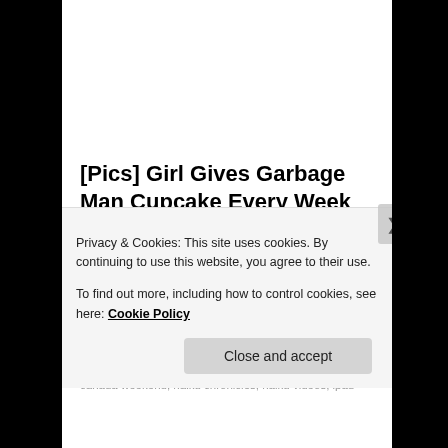[Pics] Girl Gives Garbage Man Cupcake Every Week Until Dad…
HealthyGem
Posted in Conference, Haibun, haiga, Haiku, Masters, Video, Websites | Tagged Andrew O. Dugas, Daily Haiku by Haiku Andy, David G. Lanoue, flipbooks, haiku and new technologies, haiku canada 2015, haiku canada conference 2015, haiku canada week-end 2015, haiku canada weekend, haiku chronicles, haiku videos, ipad
Privacy & Cookies: This site uses cookies. By continuing to use this website, you agree to their use.
To find out more, including how to control cookies, see here: Cookie Policy